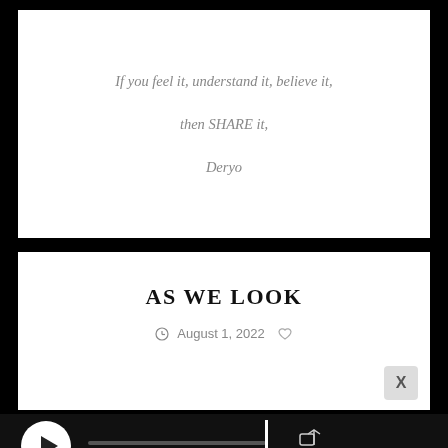If you feel it, understand it, believe it,
then SHARE it,
Deryo
AS WE LOOK
August 1, 2022
[Figure (screenshot): Music player interface with play button, progress bar, time display (00:00 / 01:06), share icon, playback controls (repeat, previous, next), and BUY TRACK button]